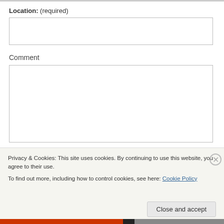Location: (required)
Comment
Privacy & Cookies: This site uses cookies. By continuing to use this website, you agree to their use.
To find out more, including how to control cookies, see here: Cookie Policy
Close and accept